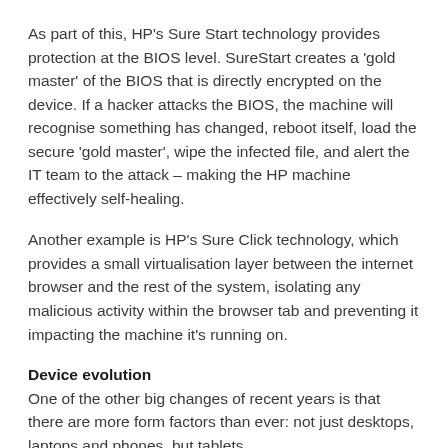As part of this, HP's Sure Start technology provides protection at the BIOS level. SureStart creates a 'gold master' of the BIOS that is directly encrypted on the device. If a hacker attacks the BIOS, the machine will recognise something has changed, reboot itself, load the secure 'gold master', wipe the infected file, and alert the IT team to the attack – making the HP machine effectively self-healing.
Another example is HP's Sure Click technology, which provides a small virtualisation layer between the internet browser and the rest of the system, isolating any malicious activity within the browser tab and preventing it impacting the machine it's running on.
Device evolution
One of the other big changes of recent years is that there are more form factors than ever: not just desktops, laptops and phones, but tablets,